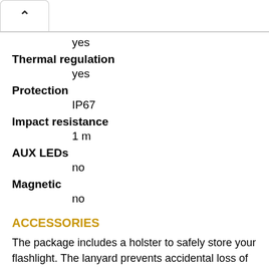yes
Thermal regulation
yes
Protection
IP67
Impact resistance
1 m
AUX LEDs
no
Magnetic
no
ACCESSORIES
The package includes a holster to safely store your flashlight. The lanyard prevents accidental loss of the flashlight.